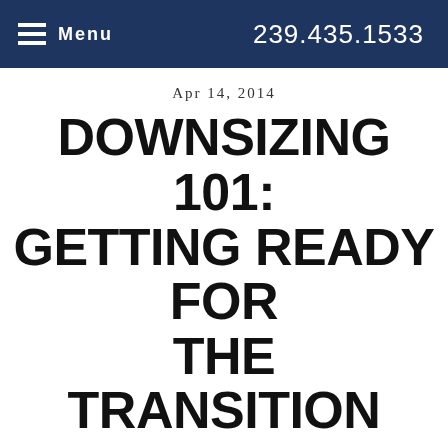Menu  239.435.1533
Apr 14, 2014
DOWNSIZING 101: GETTING READY FOR THE TRANSITION